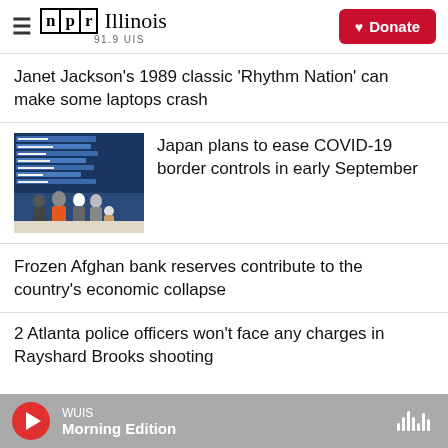NPR Illinois 91.9 UIS | Donate
Janet Jackson's 1989 classic 'Rhythm Nation' can make some laptops crash
[Figure (photo): People with masks standing in front of large departure boards at an airport in Japan]
Japan plans to ease COVID-19 border controls in early September
Frozen Afghan bank reserves contribute to the country's economic collapse
2 Atlanta police officers won't face any charges in Rayshard Brooks shooting
WUIS Morning Edition